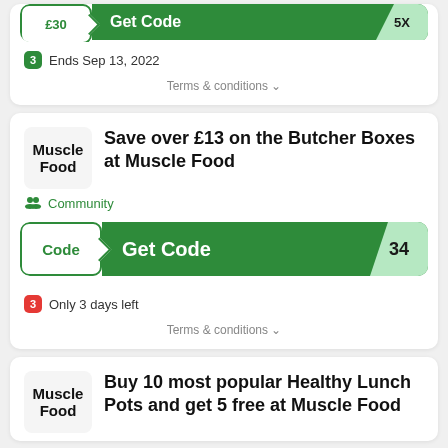[Figure (screenshot): Partial coupon card showing Get Code button with corner flap, green bar]
Ends Sep 13, 2022
Terms & conditions
Save over £13 on the Butcher Boxes at Muscle Food
Community
[Figure (screenshot): Get Code button with Code box and corner flap showing 34]
Only 3 days left
Terms & conditions
Buy 10 most popular Healthy Lunch Pots and get 5 free at Muscle Food